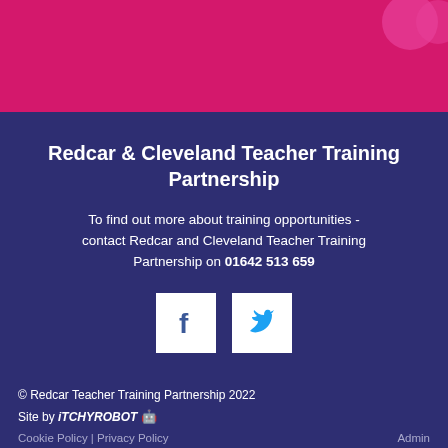[Figure (other): Pink header bar with partial logo visible in top-right corner]
Redcar & Cleveland Teacher Training Partnership
To find out more about training opportunities - contact Redcar and Cleveland Teacher Training Partnership on 01642 513 659
[Figure (other): Facebook and Twitter social media icon buttons (white squares with icons)]
© Redcar Teacher Training Partnership 2022
Site by iTCHYROBOT 🤖
Cookie Policy | Privacy Policy                                     Admin